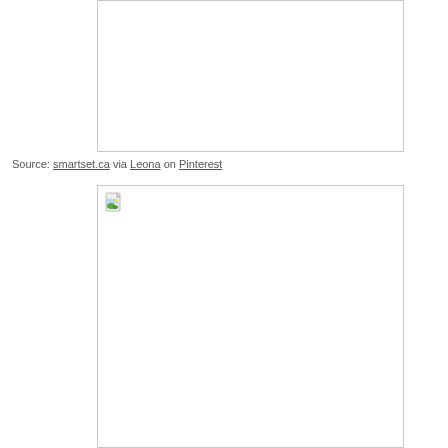[Figure (photo): Empty image placeholder box (top), no image loaded]
Source: smartset.ca via Leona on Pinterest
[Figure (photo): Empty image placeholder box (bottom) with broken image icon in top-left corner]